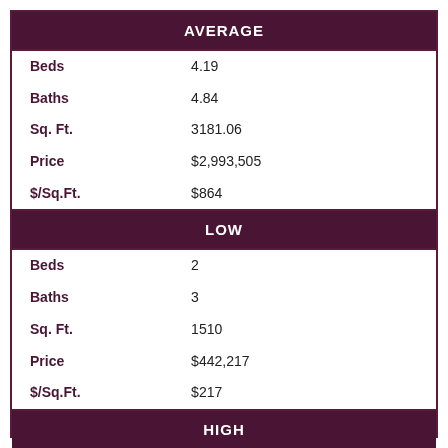AVERAGE
|  |  |
| --- | --- |
| Beds | 4.19 |
| Baths | 4.84 |
| Sq. Ft. | 3181.06 |
| Price | $2,993,505 |
| $/Sq.Ft. | $864 |
LOW
|  |  |
| --- | --- |
| Beds | 2 |
| Baths | 3 |
| Sq. Ft. | 1510 |
| Price | $442,217 |
| $/Sq.Ft. | $217 |
HIGH
|  |  |
| --- | --- |
| Beds | 8 |
| Baths | 11 |